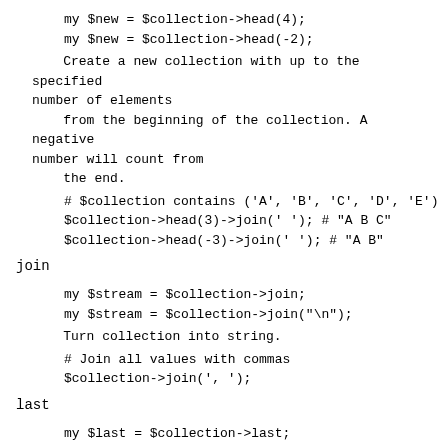my $new = $collection->head(4);
    my $new = $collection->head(-2);
Create a new collection with up to the specified number of elements
    from the beginning of the collection. A negative number will count from
    the end.
# $collection contains ('A', 'B', 'C', 'D', 'E')
    $collection->head(3)->join(' '); # "A B C"
    $collection->head(-3)->join(' '); # "A B"
join
my $stream = $collection->join;
    my $stream = $collection->join("\n");
Turn collection into string.
# Join all values with commas
    $collection->join(', ');
last
my $last = $collection->last;
Return the last element in collection.